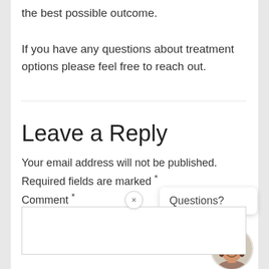the best possible outcome.
If you have any questions about treatment options please feel free to reach out.
Leave a Reply
Your email address will not be published. Required fields are marked *
Comment *
[Figure (illustration): Chat widget popup with close button, 'Questions?' speech bubble, and circular avatar photo of a woman with brown hair smiling]